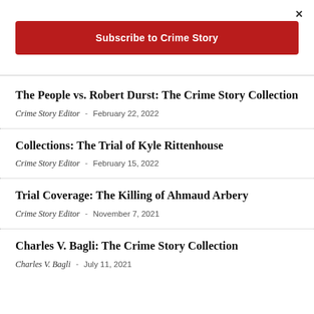×
Subscribe to Crime Story
The People vs. Robert Durst: The Crime Story Collection
Crime Story Editor  -  February 22, 2022
Collections: The Trial of Kyle Rittenhouse
Crime Story Editor  -  February 15, 2022
Trial Coverage: The Killing of Ahmaud Arbery
Crime Story Editor  -  November 7, 2021
Charles V. Bagli: The Crime Story Collection
Charles V. Bagli  -  July 11, 2021